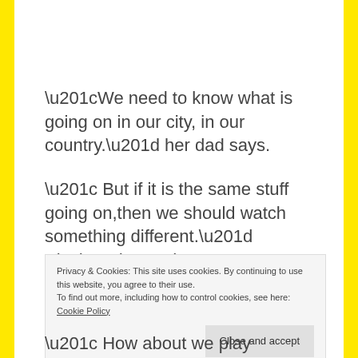“We need to know what is going on in our city, in our country.” her dad says.
“ But if it is the same stuff going on,then we should watch something different.” Sinchan demands.
Privacy & Cookies: This site uses cookies. By continuing to use this website, you agree to their use. To find out more, including how to control cookies, see here: Cookie Policy
“ How about we play Mancala together?”